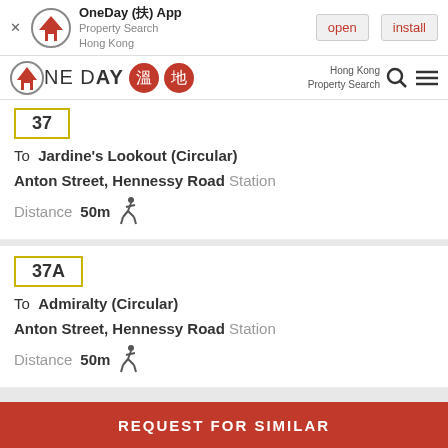[Figure (screenshot): App install banner for OneDay App - Property Search Hong Kong with open and install buttons]
[Figure (logo): OneDay property search Hong Kong logo with Chinese characters and navigation icons]
37
To  Jardine's Lookout (Circular)
Anton Street, Hennessy Road  Station
Distance  50m
37A
To  Admiralty (Circular)
Anton Street, Hennessy Road  Station
Distance  50m
REQUEST FOR SIMILAR